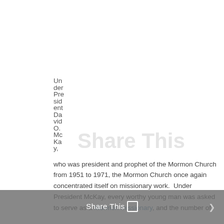Under President David O. McKay, who was president and prophet of the Mormon Church from 1951 to 1971, the Mormon Church once again concentrated itself on missionary work. Under President McKay, every worthy young man was asked to serve as a Mormon missionary, and the number of